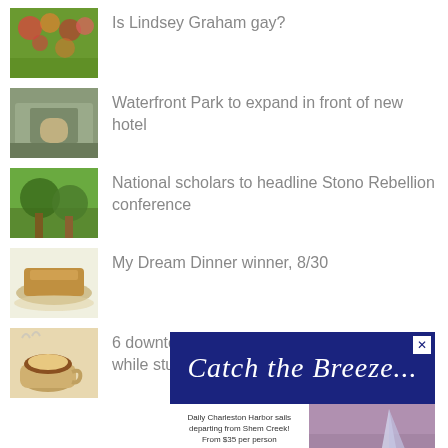Is Lindsey Graham gay?
Waterfront Park to expand in front of new hotel
National scholars to headline Stono Rebellion conference
My Dream Dinner winner, 8/30
6 downtown Charleston cafes to frequent while studying
[Figure (infographic): Advertisement for sailing charter: 'Catch the Breeze...' — Daily Charleston Harbor sails departing from Shem Creek! From $35 per person. PRIVATE CHARTERS AVAILABLE. Bud Light logo visible.]